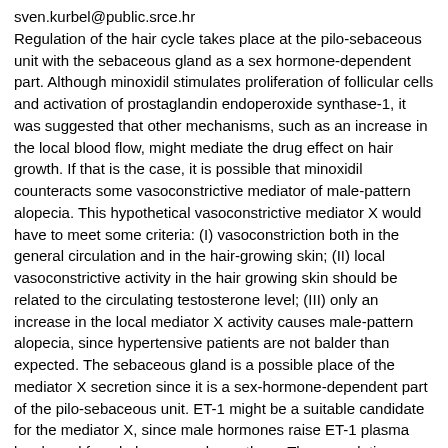sven.kurbel@public.srce.hr
Regulation of the hair cycle takes place at the pilo-sebaceous unit with the sebaceous gland as a sex hormone-dependent part. Although minoxidil stimulates proliferation of follicular cells and activation of prostaglandin endoperoxide synthase-1, it was suggested that other mechanisms, such as an increase in the local blood flow, might mediate the drug effect on hair growth. If that is the case, it is possible that minoxidil counteracts some vasoconstrictive mediator of male-pattern alopecia. This hypothetical vasoconstrictive mediator X would have to meet some criteria: (I) vasoconstriction both in the general circulation and in the hair-growing skin; (II) local vasoconstrictive activity in the hair growing skin should be related to the circulating testosterone level; (III) only an increase in the local mediator X activity causes male-pattern alopecia, since hypertensive patients are not balder than expected. The sebaceous gland is a possible place of the mediator X secretion since it is a sex-hormone-dependent part of the pilo-sebaceous unit. ET-1 might be a suitable candidate for the mediator X, since male hormones raise ET-1 plasma levels and female hormones lower them. The speculation presented here is that ET-1, beside vasoconstriction in the general circulation, might also regulate the sebum secretion, by triggering contractions of the myoepithelial cells. This hypothetical mechanism would normally remain confined to the sebaceous gland. During puberty, sex hormones stimulate growth of sebaceous glands in both sexes. In women hypertrophied sebaceous glands under estrogen control would not increase its ET-1 content, while in men, testosterone would increase ET-1